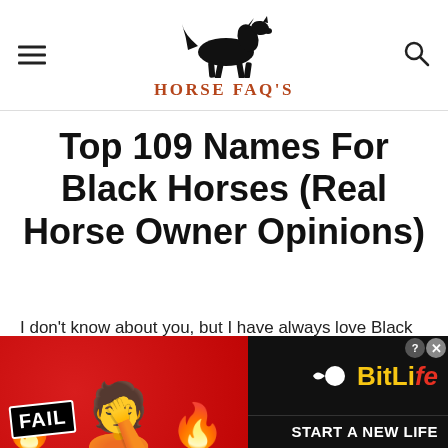[Figure (logo): Horse FAQ's website header with hamburger menu on left, running horse silhouette in center top, search icon on right, and 'HORSE FAQ'S' text in brown serif font below the horse.]
Top 109 Names For Black Horses (Real Horse Owner Opinions)
I don't know about you, but I have always love Black
[Figure (illustration): Advertisement banner with red background showing 'FAIL' badge, facepalm emoji, flame emojis, and BitLife game ad with 'START A NEW LIFE' text on black background on the right side. Close and question mark buttons visible.]